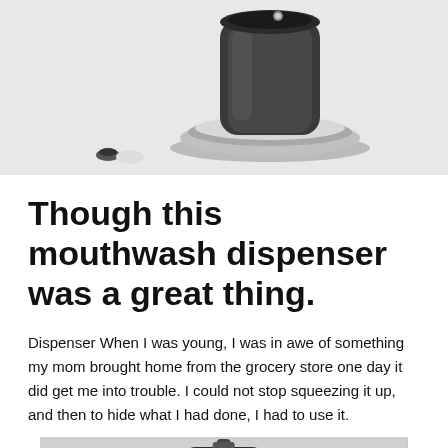[Figure (photo): Black and white photo of a mouthwash dispenser device with a chrome/silver base on a white surface, with a small dark object nearby]
Though this mouthwash dispenser was a great thing.
Dispenser When I was young, I was in awe of something my mom brought home from the grocery store one day it did get me into trouble. I could not stop squeezing it up, and then to hide what I had done, I had to use it.
[Figure (photo): Black and white photo of a mouthwash dispenser showing the top portion with a nozzle/pump mechanism]